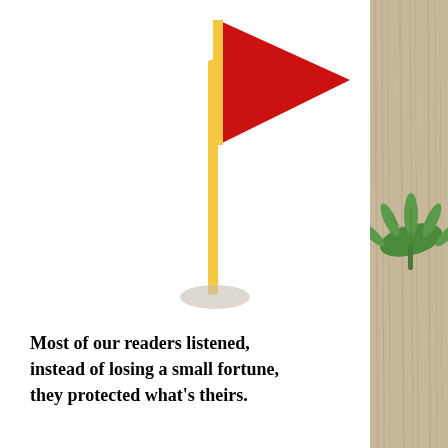[Figure (illustration): A red triangular flag on a golden/yellow flagpole with a shadow at the base, on a white background]
[Figure (photo): Right side panel showing a wood texture background with a green cannabis/marijuana leaf]
Most of our readers listened, instead of losing a small fortune, they protected what's theirs.